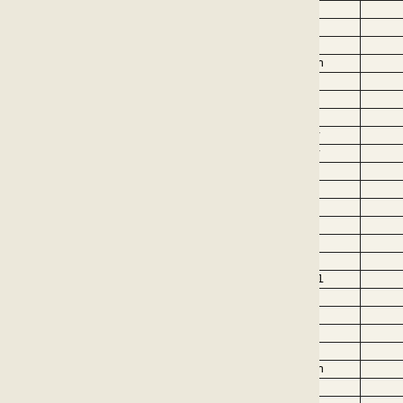| Year | Surname | First Name | Note |
| --- | --- | --- | --- |
| 1628 | Vernon | Edward |  |
| 1628 | Vernon | Edward |  |
| 1628 | Vernon | Edward |  |
| 1636 | Vernon | Elizabeth |  |
| 1580 | Vernon | Randle |  |
| 1625 | Gandie | Ann |  |
| 1612 | Eaton | Robert |  |
| 1607 | Vernon | Humphrey |  |
| 1607 | Vernon | Humphrey |  |
| 1672 | Eaton | Thomas |  |
| 1672 | Eaton | Thomas |  |
| 1623 | Bell | George | As |
| 1617 | Eaton | John |  |
| 1672 | Eaton | Thomas |  |
| 1581 | Henshaw | Ann |  |
| 1639 | Bownell | Nathaniel |  |
| 1617 | Eaton | John |  |
| 1580 | Vernon | Randle |  |
| 1681 | Eaton | Thomas |  |
| 1649 | Eaton | William |  |
| 1636 | Vernon | Elizabeth |  |
| 1612 | Eaton | Robert |  |
| 1629 | Ditchfield | Peter |  |
| 1629 | Ditchfield | Peter |  |
| 1618 | Crimes | William |  |
| 1649 | Eaton | William |  |